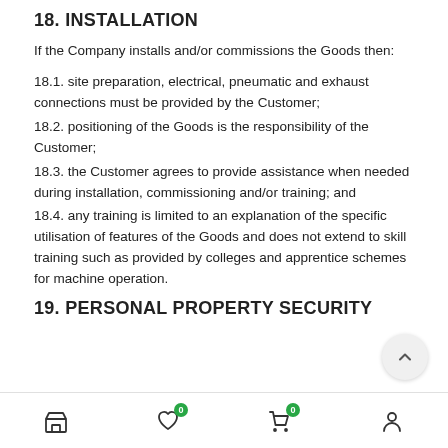18. INSTALLATION
If the Company installs and/or commissions the Goods then:
18.1. site preparation, electrical, pneumatic and exhaust connections must be provided by the Customer;
18.2. positioning of the Goods is the responsibility of the Customer;
18.3. the Customer agrees to provide assistance when needed during installation, commissioning and/or training; and
18.4. any training is limited to an explanation of the specific utilisation of features of the Goods and does not extend to skill training such as provided by colleges and apprentice schemes for machine operation.
19. PERSONAL PROPERTY SECURITY